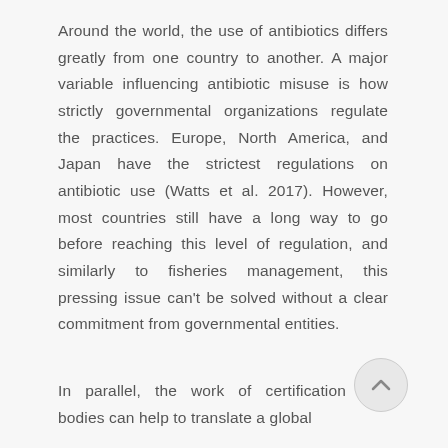Around the world, the use of antibiotics differs greatly from one country to another. A major variable influencing antibiotic misuse is how strictly governmental organizations regulate the practices. Europe, North America, and Japan have the strictest regulations on antibiotic use (Watts et al. 2017). However, most countries still have a long way to go before reaching this level of regulation, and similarly to fisheries management, this pressing issue can't be solved without a clear commitment from governmental entities.
In parallel, the work of certification bodies can help to translate a global